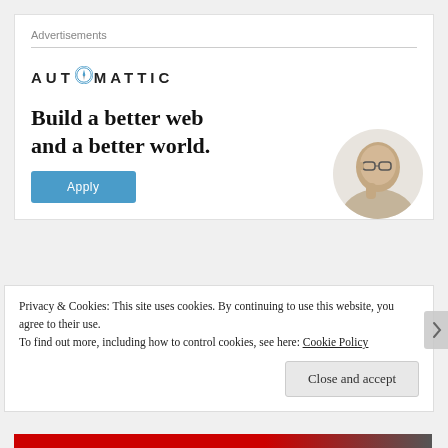Advertisements
[Figure (logo): Automattic logo with compass icon inside the letter O, text in uppercase spaced letters]
Build a better web
and a better world.
[Figure (photo): Circular cropped photo of a man with glasses and beard, thinking pose, on light gray background]
Apply
Privacy & Cookies: This site uses cookies. By continuing to use this website, you agree to their use.
To find out more, including how to control cookies, see here: Cookie Policy
Close and accept